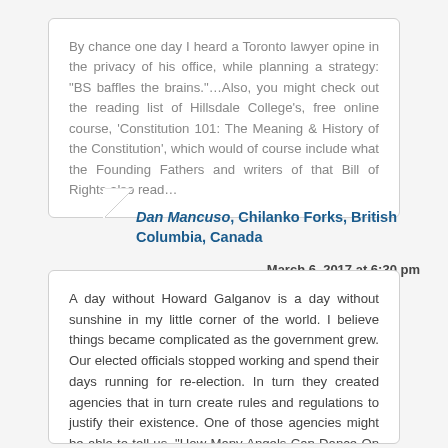By chance one day I heard a Toronto lawyer opine in the privacy of his office, while planning a strategy: "BS baffles the brains."…Also, you might check out the reading list of Hillsdale College's, free online course, 'Constitution 101: The Meaning & History of the Constitution', which would of course include what the Founding Fathers and writers of that Bill of Rights also read…
Dan Mancuso, Chilanko Forks, British Columbia, Canada
March 6, 2017 at 6:30 pm
A day without Howard Galganov is a day without sunshine in my little corner of the world. I believe things became complicated as the government grew. Our elected officials stopped working and spend their days running for re-election. In turn they created agencies that in turn create rules and regulations to justify their existence. One of those agencies might be able to tell us, "How Many Angels Can Dance On The Head Of A Pin"! Good luck on getting through!